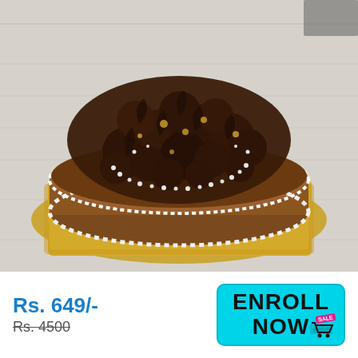[Figure (photo): A chocolate cake decorated with dark chocolate rosettes, silver sugar pearls, and gold dust, placed on a golden square board on a wooden table background.]
Rs. 649/-
Rs. 4500
ENROLL NOW